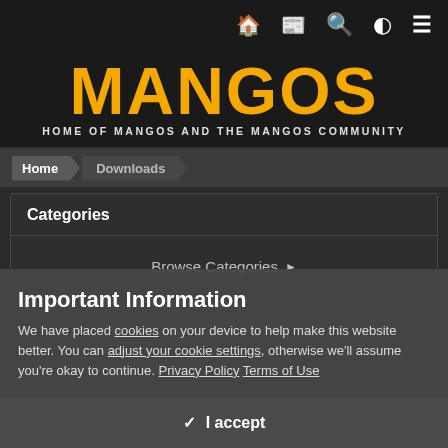Navigation icons: home, newspaper, search, theme toggle, menu
[Figure (logo): MaNGOS logo — large yellow/orange bold text 'MaNGOS' with subtitle 'HOME OF MANGOS AND THE MANGOS COMMUNITY' in white on dark background]
Home > Downloads
Categories
Browse Categories ▶
Important Information
We have placed cookies on your device to help make this website better. You can adjust your cookie settings, otherwise we'll assume you're okay to continue. Privacy Policy Terms of Use
✓  I accept